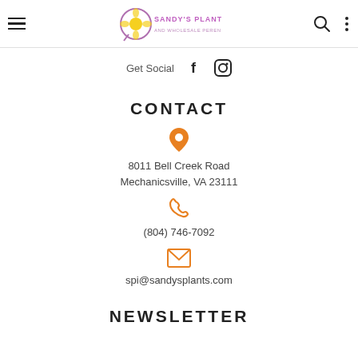Sandy's Plants, Inc. — navigation header with hamburger menu, logo, search, and more icons
Get Social  [Facebook icon]  [Instagram icon]
CONTACT
[Figure (illustration): Orange map pin / location icon]
8011 Bell Creek Road
Mechanicsville, VA 23111
[Figure (illustration): Orange phone/handset icon]
(804) 746-7092
[Figure (illustration): Orange envelope/email icon]
spi@sandysplants.com
NEWSLETTER